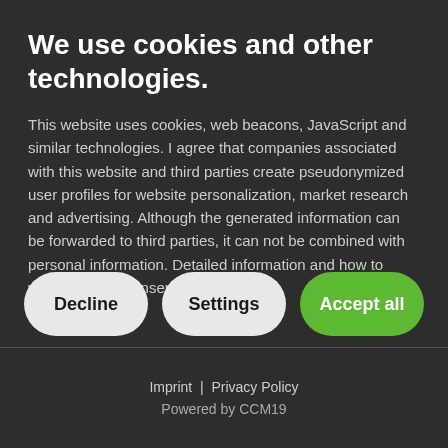We use cookies and other technologies.
This website uses cookies, web beacons, JavaScript and similar technologies. I agree that companies associated with this website and third parties create pseudonymized user profiles for website personalization, market research and advertising. Although the generated information can be forwarded to third parties, it can not be combined with personal information. Detailed information and how to withdraw your consent can be
Decline
Settings
Accept all
Imprint | Privacy Policy
Powered by CCM19